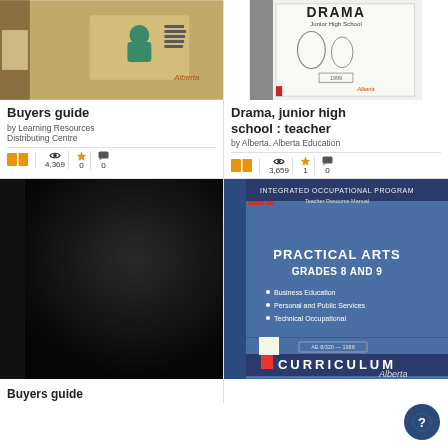[Figure (photo): Buyers guide book cover - Learning Resources Distributing Centre, tan/brown colored box with logo]
Buyers guide
by Learning Resources Distributing Centre
4,369 views, 0 favorites, 0 comments
[Figure (photo): Drama Junior High School book cover - white/gray cover with Alberta logo]
Drama, junior high school : teacher
by Alberta. Alberta Education
3,659 views, 1 favorite, 0 comments
[Figure (photo): Dark/black book cover - no title visible]
Buyers guide
[Figure (photo): Integrated Occupational Program - Practical Arts Grades 8 and 9 - blue curriculum book cover]